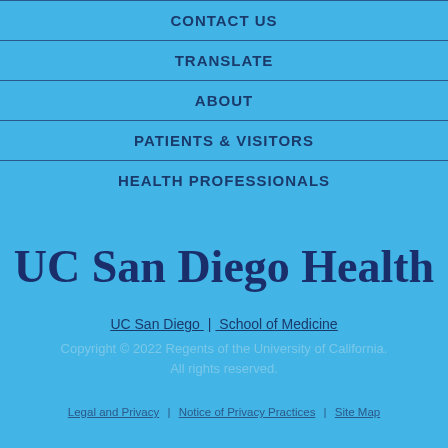CONTACT US
TRANSLATE
ABOUT
PATIENTS & VISITORS
HEALTH PROFESSIONALS
[Figure (logo): UC San Diego Health logo in dark navy text on light blue background]
UC San Diego | School of Medicine
Copyright © 2022 Regents of the University of California. All rights reserved.
Legal and Privacy | Notice of Privacy Practices | Site Map